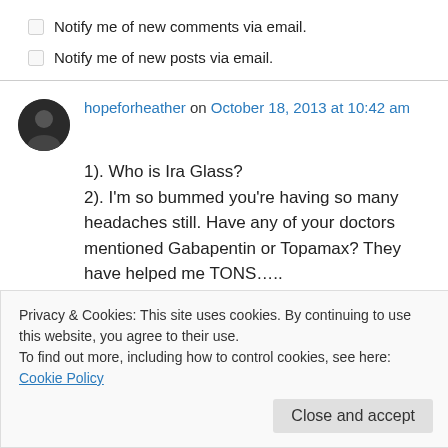Notify me of new comments via email.
Notify me of new posts via email.
hopeforheather on October 18, 2013 at 10:42 am
1). Who is Ira Glass?
2). I'm so bummed you're having so many headaches still. Have any of your doctors mentioned Gabapentin or Topamax? They have helped me TONS…..
Privacy & Cookies: This site uses cookies. By continuing to use this website, you agree to their use.
To find out more, including how to control cookies, see here: Cookie Policy